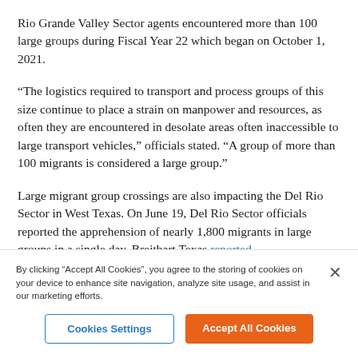Rio Grande Valley Sector agents encountered more than 100 large groups during Fiscal Year 22 which began on October 1, 2021.
“The logistics required to transport and process groups of this size continue to place a strain on manpower and resources, as often they are encountered in desolate areas often inaccessible to large transport vehicles,” officials stated. “A group of more than 100 migrants is considered a large group.”
Large migrant group crossings are also impacting the Del Rio Sector in West Texas. On June 19, Del Rio Sector officials reported the apprehension of nearly 1,800 migrants in large groups in a single day, Breitbart Texas reported.
One of the groups, apprehended near Normandy, Texas, approached 500 migrants in size.
By clicking “Accept All Cookies”, you agree to the storing of cookies on your device to enhance site navigation, analyze site usage, and assist in our marketing efforts.